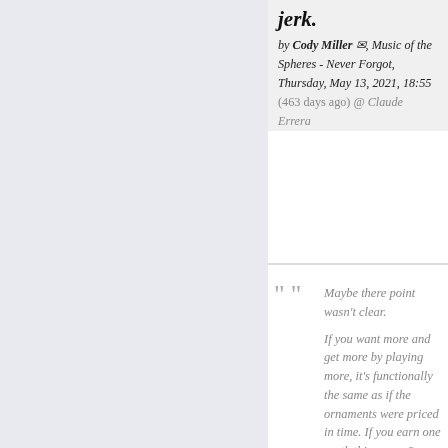jerk.
by Cody Miller ✉, Music of the Spheres - Never Forgot, Thursday, May 13, 2021, 18:55 (463 days ago) @ Claude Errera
Maybe there point wasn't clear.

If you want more and get more by playing more, it's functionally the same as if the ornaments were priced in time. If you earn one synth thingy per 2 minutes, then it's not really any different if you